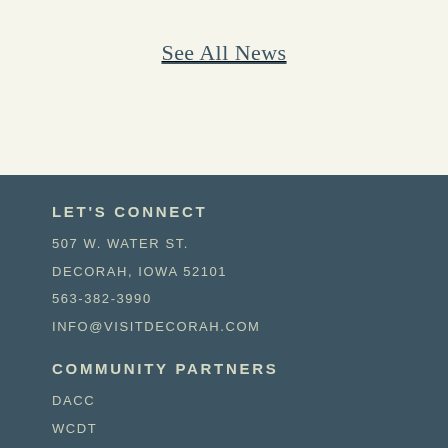See All News
LET'S CONNECT
507 W. WATER ST.
DECORAH, IOWA 52101
563-382-3990
INFO@VISITDECORAH.COM
COMMUNITY PARTNERS
DACC
WCDT
CITY OF DECORAH
WINNESHIEK COUNTY
[Figure (illustration): Wave/water decorative icon in light color on dark background]